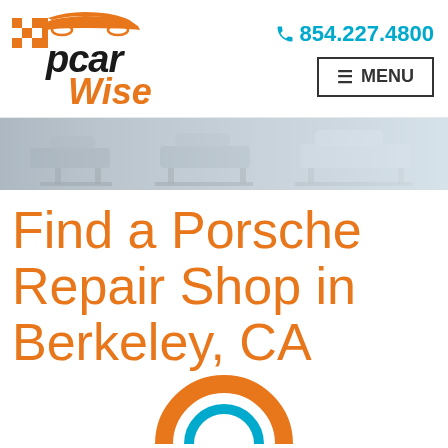[Figure (logo): PcarWise logo with checkered flag pattern and car silhouette in orange, text 'pcar' in black bold italic and 'Wise' in orange italic]
854.227.4800
≡ MENU
[Figure (photo): Hero banner showing cars elevated on lifts in an auto repair garage, muted blue-gray tones]
Find a Porsche Repair Shop in Berkeley, CA
[Figure (illustration): Partial circular orange/blue icon at bottom center, cut off at page edge]